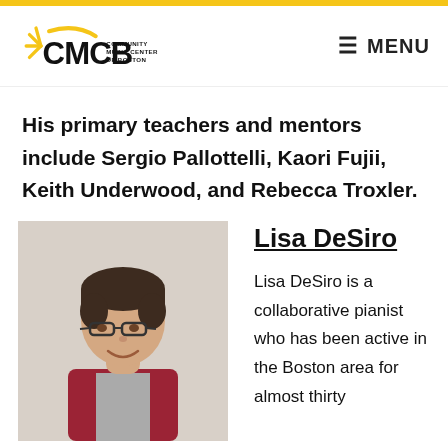[Figure (logo): CMCB Community Music Center of Boston logo with yellow sunburst icon and bold black letters]
≡ MENU
His primary teachers and mentors include Sergio Pallottelli, Kaori Fujii, Keith Underwood, and Rebecca Troxler.
[Figure (photo): Photo of Lisa DeSiro, a woman with short dark hair and glasses, wearing a red cardigan, smiling]
Lisa DeSiro
Lisa DeSiro is a collaborative pianist who has been active in the Boston area for almost thirty